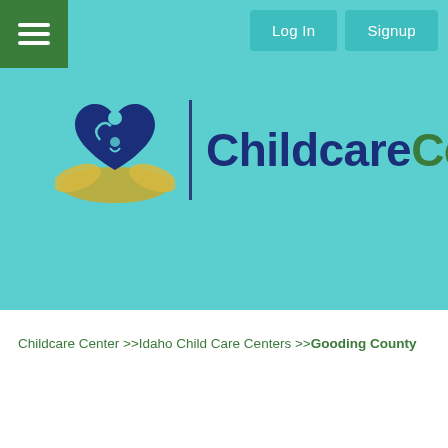[Figure (logo): ChildcareCenter.us logo with heart/children icon and text]
Childcare Center >>Idaho Child Care Centers >>Gooding County